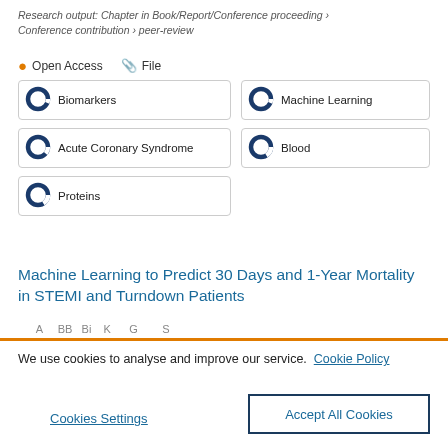Research output: Chapter in Book/Report/Conference proceeding › Conference contribution › peer-review
Open Access   File
Biomarkers
Machine Learning
Acute Coronary Syndrome
Blood
Proteins
Machine Learning to Predict 30 Days and 1-Year Mortality in STEMI and Turndown Patients
We use cookies to analyse and improve our service. Cookie Policy
Cookies Settings
Accept All Cookies